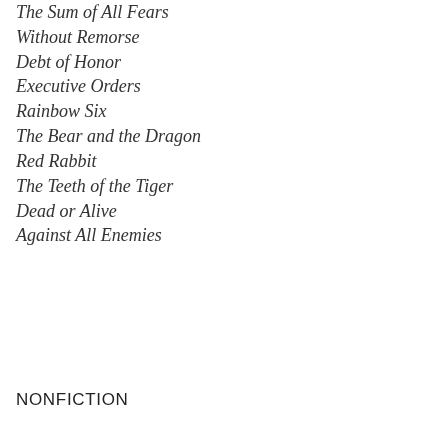The Sum of All Fears
Without Remorse
Debt of Honor
Executive Orders
Rainbow Six
The Bear and the Dragon
Red Rabbit
The Teeth of the Tiger
Dead or Alive
Against All Enemies
NONFICTION